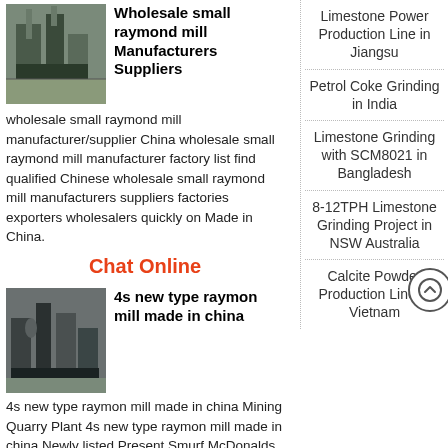[Figure (photo): Industrial machinery/mill equipment photo]
Wholesale small raymond mill Manufacturers Suppliers
wholesale small raymond mill manufacturer/supplier China wholesale small raymond mill manufacturer factory list find qualified Chinese wholesale small raymond mill manufacturers suppliers factories exporters wholesalers quickly on Made in China.
Chat Online
[Figure (photo): Industrial mining mill equipment photo]
4s new type raymon mill made in china
4s new type raymon mill made in china Mining Quarry Plant 4s new type raymon mill made in china Newly listed Present Smurf McDonalds Gift Box New Sealed Vintage Happy Meal Toys 20086 20086 HomeGain
Limestone Power Production Line in Jiangsu
Petrol Coke Grinding in India
Limestone Grinding with SCM8021 in Bangladesh
8-12TPH Limestone Grinding Project in NSW Australia
Calcite Powder Production Line in Vietnam